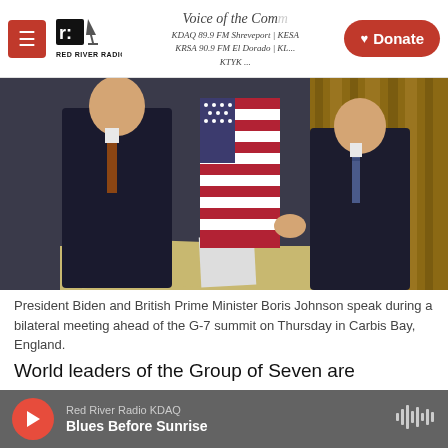Red River Radio — Voice of the Community — KDAQ 89.9 FM Shreveport | KESA | KRSA 90.9 FM El Dorado | KTYK — Donate
[Figure (photo): President Biden and British Prime Minister Boris Johnson standing near an American flag during a bilateral meeting ahead of the G-7 summit in Carbis Bay, England.]
President Biden and British Prime Minister Boris Johnson speak during a bilateral meeting ahead of the G-7 summit on Thursday in Carbis Bay, England.
World leaders of the Group of Seven are expected to announce Friday a commitment to share 1 billion of their COVID-19 vaccine resources with lower-
Red River Radio KDAQ — Blues Before Sunrise